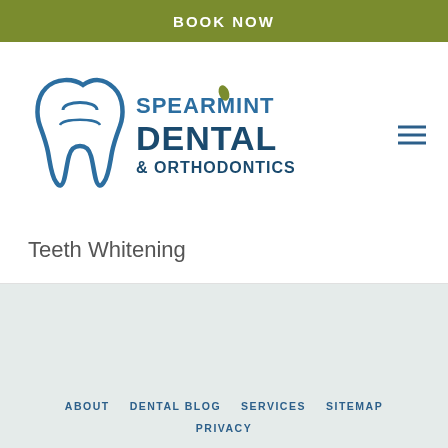BOOK NOW
[Figure (logo): Spearmint Dental & Orthodontics logo with tooth icon and green/blue text]
Teeth Whitening
ABOUT   DENTAL BLOG   SERVICES   SITEMAP   PRIVACY